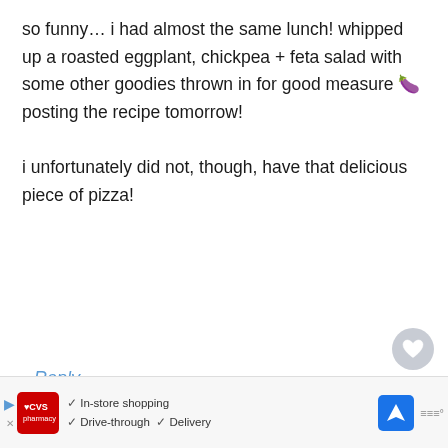so funny... i had almost the same lunch! whipped up a roasted eggplant, chickpea + feta salad with some other goodies thrown in for good measure 🍆 posting the recipe tomorrow!

i unfortunately did not, though, have that delicious piece of pizza!
Reply
[Figure (screenshot): Heart (like) button - circular grey button with heart icon]
[Figure (screenshot): Share button - circular white button with share icon]
WHAT'S NEXT → Chia Bomb
✓ In-store shopping  ✓ Drive-through  ✓ Delivery